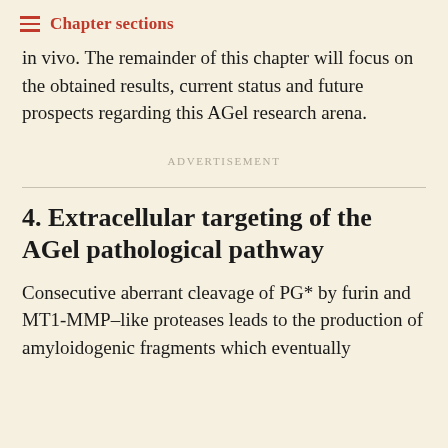Chapter sections
in vivo. The remainder of this chapter will focus on the obtained results, current status and future prospects regarding this AGel research arena.
Advertisement
4. Extracellular targeting of the AGel pathological pathway
Consecutive aberrant cleavage of PG* by furin and MT1-MMP–like proteases leads to the production of amyloidogenic fragments which eventually